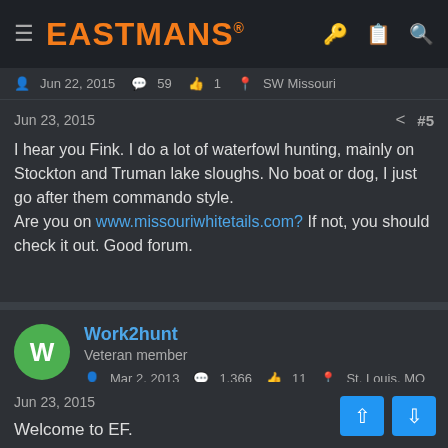EASTMANS
Jun 22, 2015   59   1   SW Missouri
Jun 23, 2015   #5
I hear you Fink. I do a lot of waterfowl hunting, mainly on Stockton and Truman lake sloughs. No boat or dog, I just go after them commando style.
Are you on www.missouriwhitetails.com? If not, you should check it out. Good forum.
Work2hunt
Veteran member
Mar 2, 2013   1,366   11   St. Louis, MO
Jun 23, 2015   #5
Welcome to EF.